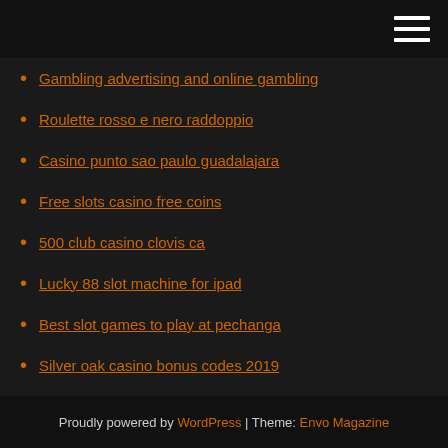Gambling advertising and online gambling
Roulette rosso e nero raddoppio
Casino punto sao paulo guadalajara
Free slots casino free coins
500 club casino clovis ca
Lucky 88 slot machine for ipad
Best slot games to play at pechanga
Silver oak casino bonus codes 2019
Red ball casino game
Do you get taxed on poker winnings
Difference entre patin a roulette et roller
Proudly powered by WordPress | Theme: Envo Magazine